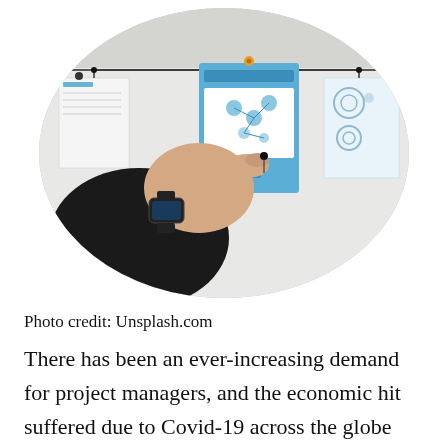[Figure (photo): An oval-cropped photograph of a person's hand wearing a black smartwatch pinning or adjusting documents and UI wireframe printouts on a bulletin board or whiteboard. Multiple papers, sticky pins, and diagrams are visible.]
Photo credit: Unsplash.com
There has been an ever-increasing demand for project managers, and the economic hit suffered due to Covid-19 across the globe has only strengthened the need for project